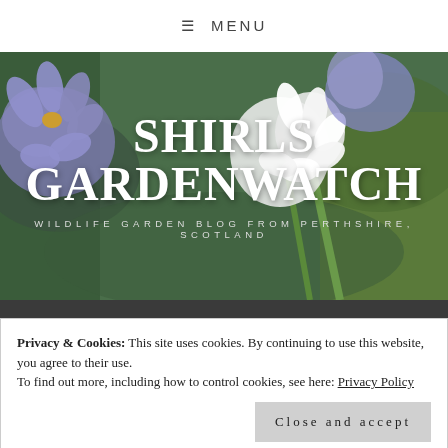≡ MENU
[Figure (photo): Agapanthus flowers in purple/blue with white flowers and green stems on a blurred garden background, with SHIRLS GARDENWATCH title and subtitle WILDLIFE GARDEN BLOG FROM PERTHSHIRE, SCOTLAND overlaid in white text]
Privacy & Cookies: This site uses cookies. By continuing to use this website, you agree to their use.
To find out more, including how to control cookies, see here: Privacy Policy
Close and accept
Desert Island Plant Challenge